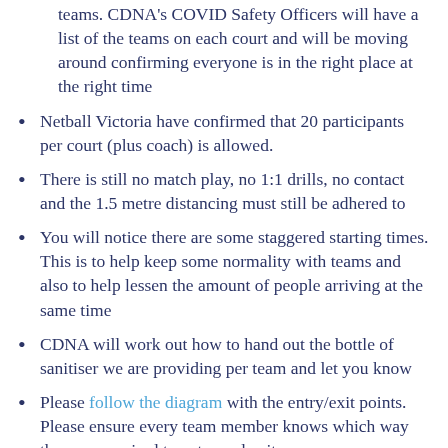teams. CDNA's COVID Safety Officers will have a list of the teams on each court and will be moving around confirming everyone is in the right place at the right time
Netball Victoria have confirmed that 20 participants per court (plus coach) is allowed.
There is still no match play, no 1:1 drills, no contact and the 1.5 metre distancing must still be adhered to
You will notice there are some staggered starting times. This is to help keep some normality with teams and also to help lessen the amount of people arriving at the same time
CDNA will work out how to hand out the bottle of sanitiser we are providing per team and let you know
Please follow the diagram with the entry/exit points. Please ensure every team member knows which way they are required to enter and exit
If I have missed anything, you would like to change